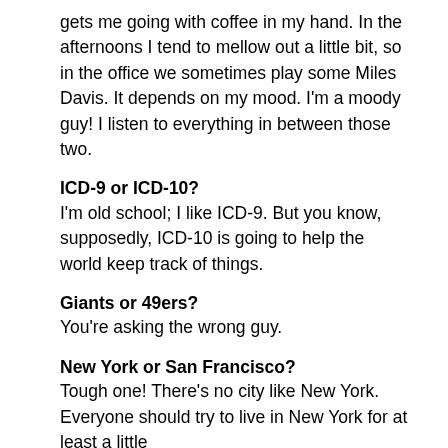gets me going with coffee in my hand. In the afternoons I tend to mellow out a little bit, so in the office we sometimes play some Miles Davis. It depends on my mood. I'm a moody guy! I listen to everything in between those two.
ICD-9 or ICD-10?
I'm old school; I like ICD-9. But you know, supposedly, ICD-10 is going to help the world keep track of things.
Giants or 49ers?
You're asking the wrong guy.
New York or San Francisco?
Tough one! There's no city like New York. Everyone should try to live in New York for at least a little